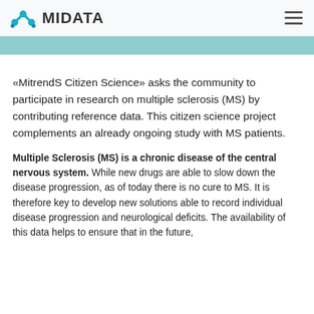MIDATA
«MitrendS Citizen Science» asks the community to participate in research on multiple sclerosis (MS) by contributing reference data. This citizen science project complements an already ongoing study with MS patients.
Multiple Sclerosis (MS) is a chronic disease of the central nervous system. While new drugs are able to slow down the disease progression, as of today there is no cure to MS. It is therefore key to develop new solutions able to record individual disease progression and neurological deficits. The availability of this data helps to ensure that in the future,